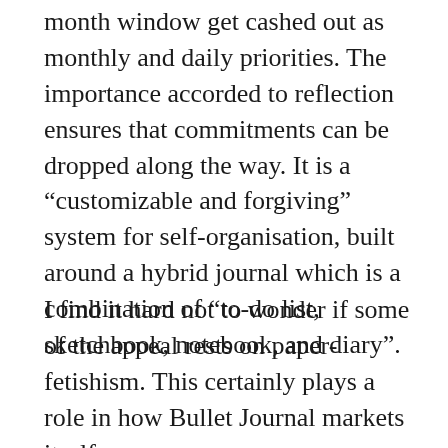month window get cashed out as monthly and daily priorities. The importance accorded to reflection ensures that commitments can be dropped along the way. It is a “customizable and forgiving” system for self-organisation, built around a hybrid journal which is a combination of “to-do list, sketchbook, notebook, and diary”.
I find it hard not to wonder if some of the appeal rests on paper-fetishism. This certainly plays a role in how Bullet Journal markets itself.